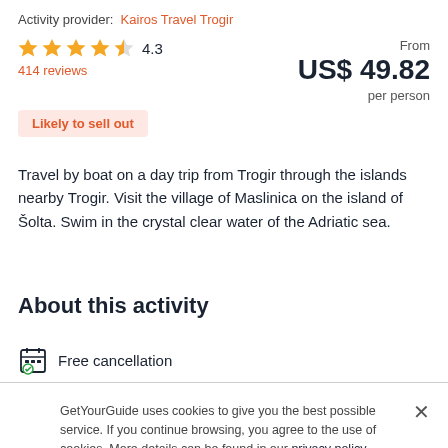Activity provider: Kairos Travel Trogir
★★★★½ 4.3
414 reviews
From
US$ 49.82
per person
Likely to sell out
Travel by boat on a day trip from Trogir through the islands nearby Trogir. Visit the village of Maslinica on the island of Šolta. Swim in the crystal clear water of the Adriatic sea.
About this activity
Free cancellation
GetYourGuide uses cookies to give you the best possible service. If you continue browsing, you agree to the use of cookies. More details can be found in our privacy policy.